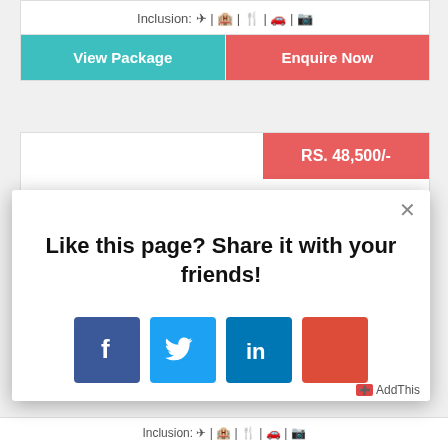Inclusion: ✈ | 🏨 | 🍴 | 🚗 | 📷
View Package
Enquire Now
RS. 48,500/-
[Figure (screenshot): Social share modal popup with title 'Like this page? Share it with your friends!' and four social media buttons: Facebook, Twitter, LinkedIn, and Google+]
Like this page? Share it with your friends!
AddThis
Inclusion: ✈ | 🏨 | 🍴 | 🚗 | 📷